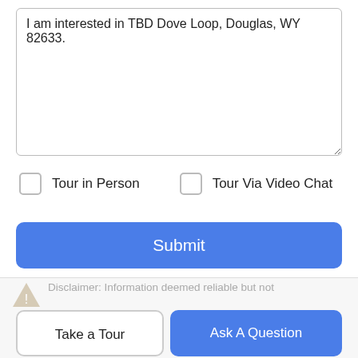I am interested in TBD Dove Loop, Douglas, WY 82633.
Tour in Person
Tour Via Video Chat
Submit
Disclaimer: By entering your information and submitting this form, you agree to our Terms of Use and Privacy Policy and that you may be contacted by phone, text message and email about your inquiry.
Disclaimer: Information deemed reliable but not
Take a Tour
Ask A Question